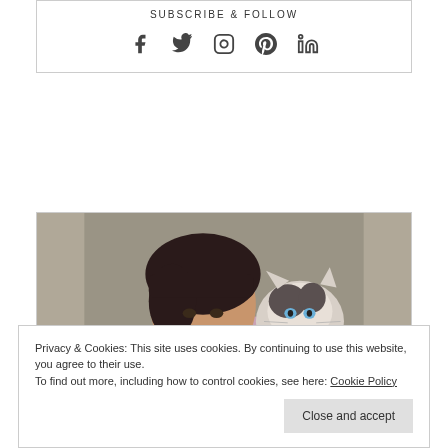SUBSCRIBE & FOLLOW
[Figure (other): Social media icons: Facebook, Twitter, Instagram, Pinterest, LinkedIn]
ABOUT ME
[Figure (photo): A woman with dark hair holding a fluffy cat with blue eyes against a grey background]
Privacy & Cookies: This site uses cookies. By continuing to use this website, you agree to their use.
To find out more, including how to control cookies, see here: Cookie Policy
Close and accept